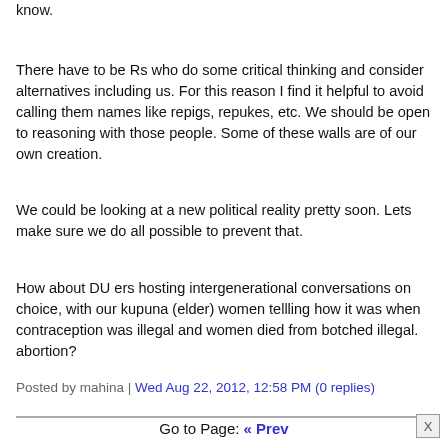know.
There have to be Rs who do some critical thinking and consider alternatives including us. For this reason I find it helpful to avoid calling them names like repigs, repukes, etc. We should be open to reasoning with those people. Some of these walls are of our own creation.
We could be looking at a new political reality pretty soon. Lets make sure we do all possible to prevent that.
How about DU ers hosting intergenerational conversations on choice, with our kupuna (elder) women tellling how it was when contraception was illegal and women died from botched illegal. abortion?
Posted by mahina | Wed Aug 22, 2012, 12:58 PM (0 replies)
Go to Page: « Prev